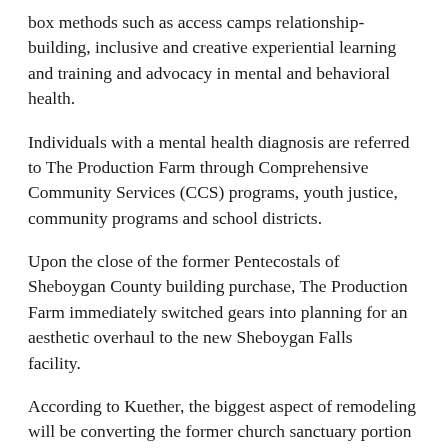box methods such as access camps relationship-building, inclusive and creative experiential learning and training and advocacy in mental and behavioral health.
Individuals with a mental health diagnosis are referred to The Production Farm through Comprehensive Community Services (CCS) programs, youth justice, community programs and school districts.
Upon the close of the former Pentecostals of Sheboygan County building purchase, The Production Farm immediately switched gears into planning for an aesthetic overhaul to the new Sheboygan Falls  facility.
According to Kuether, the biggest aspect of remodeling will be converting the former church sanctuary portion of the building into a flexible, community-oriented space.
“Clients will play a key role in creating the aesthetic of the building, as has always been the case at The Production Farm location in Manitowoc County,” Kuether said. “We’re reimagining mental health care and that starts with creating space – both physically and emotionally.